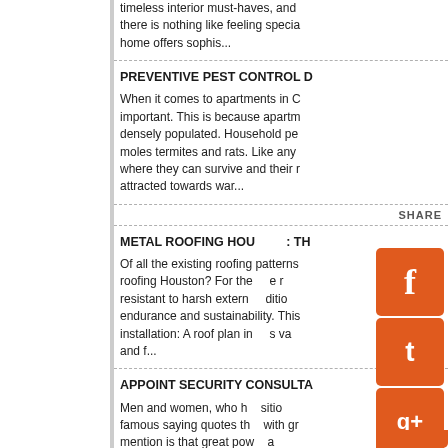timeless interior must-haves, and there is nothing like feeling special home offers sophis...
PREVENTIVE PEST CONTROL D
When it comes to apartments in C important. This is because apartm densely populated. Household pe moles termites and rats. Like any where they can survive and their r attracted towards war...
SHARE
METAL ROOFING HOU : TH
Of all the existing roofing patterns roofing Houston? For the e r resistant to harsh extern ditio endurance and sustainability. This installation: A roof plan in s va and f...
APPOINT SECURITY CONSULTA
Men and women, who h sitio famous saying quotes th with gr mention is that great pow a elements. Many politicis...
[Figure (logo): Social media sharing icons: Facebook (f), Twitter (t), Google+ (g+), LinkedIn (in), Tumblr (t.), StumbleUpon (su) — orange rounded square buttons]